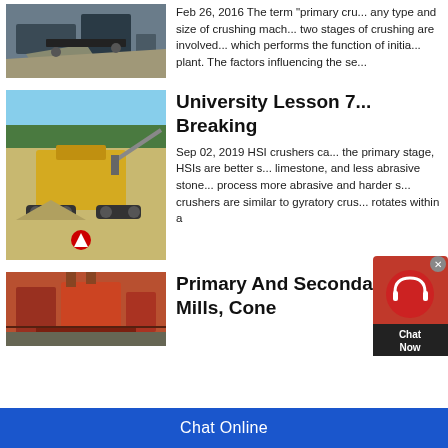[Figure (photo): Mining crusher machine at quarry site]
Feb 26, 2016 The term “primary cru... any type and size of crushing mach... two stages of crushing are involved... which performs the function of initia... plant. The factors influencing the se...
University Lesson 7... Breaking
[Figure (photo): Large mobile crusher machines at open quarry with trees in background]
Sep 02, 2019 HSI crushers ca... the primary stage, HSIs are better s... limestone, and less abrasive stone... process more abrasive and harder s... crushers are similar to gyratory crus... rotates within a
Primary And Secondary... Mills, Cone
[Figure (photo): Red primary crusher at industrial plant]
Chat Online